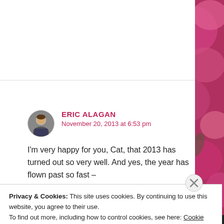[Figure (photo): Floral background with pink/red flowers visible on the right side and behind the white content area]
ERIC ALAGAN
November 20, 2013 at 6:53 pm
I'm very happy for you, Cat, that 2013 has turned out so very well. And yes, the year has flown past so fast –
Privacy & Cookies: This site uses cookies. By continuing to use this website, you agree to their use.
To find out more, including how to control cookies, see here: Cookie Policy